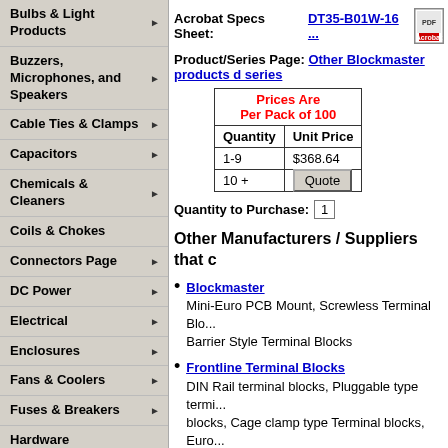Bulbs & Light Products
Buzzers, Microphones, and Speakers
Cable Ties & Clamps
Capacitors
Chemicals & Cleaners
Coils & Chokes
Connectors Page
DC Power
Electrical
Enclosures
Fans & Coolers
Fuses & Breakers
Hardware
Heat Shrink Tubing
Inductors
Acrobat Specs Sheet: DT35-B01W-16 ...
Product/Series Page: Other Blockmaster products and series
| Quantity | Unit Price |
| --- | --- |
| 1-9 | $368.64 |
| 10 + | Quote |
Quantity to Purchase: 1
Other Manufacturers / Suppliers that c
Blockmaster - Mini-Euro PCB Mount, Screwless Terminal Blocks, Barrier Style Terminal Blocks
Frontline Terminal Blocks - DIN Rail terminal blocks, Pluggable type terminal blocks, Cage clamp type Terminal blocks, Euro Barrier Style terminal blocks